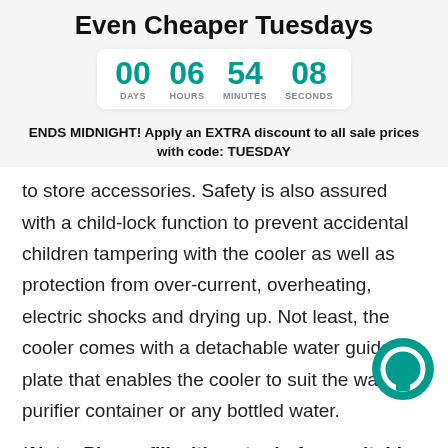Even Cheaper Tuesdays
[Figure (infographic): Countdown timer showing 00 days, 06 hours, 54 minutes, 08 seconds]
ENDS MIDNIGHT! Apply an EXTRA discount to all sale prices with code: TUESDAY
to store accessories. Safety is also assured with a child-lock function to prevent accidental children tampering with the cooler as well as protection from over-current, overheating, electric shocks and drying up. Not least, the cooler comes with a detachable water guide plate that enables the cooler to suit the water purifier container or any bottled water.
*Note: Please fill with water before switching on to prevent malfunction.
Features
*Top-loading design